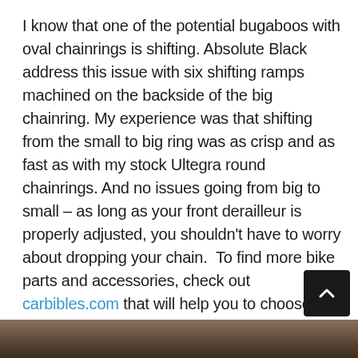I know that one of the potential bugaboos with oval chainrings is shifting. Absolute Black address this issue with six shifting ramps machined on the backside of the big chainring. My experience was that shifting from the small to big ring was as crisp and as fast as with my stock Ultegra round chainrings. And no issues going from big to small – as long as your front derailleur is properly adjusted, you shouldn't have to worry about dropping your chain.  To find more bike parts and accessories, check out carbibles.com that will help you to choose the perfect ones for your bike.
[Figure (photo): Partial photo strip of what appears to be a outdoor/terrain scene, visible at the bottom of the page]